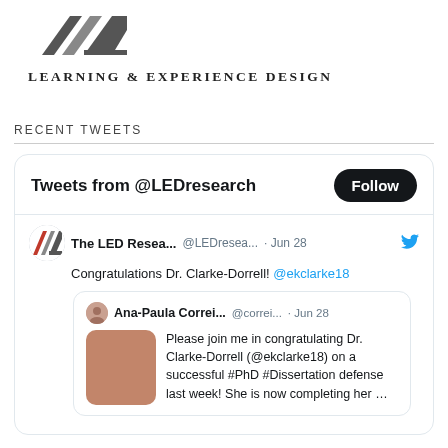[Figure (logo): LED Research Learning & Experience Design logo — geometric arrow/checkmark shape above text 'Learning & Experience Design']
RECENT TWEETS
[Figure (screenshot): Twitter widget showing tweets from @LEDresearch. Header: 'Tweets from @LEDresearch' with Follow button. Tweet from The LED Resea... @LEDresea... Jun 28: 'Congratulations Dr. Clarke-Dorrell! @ekclarke18'. Embedded retweet from Ana-Paula Correi... @correi... Jun 28 with image: 'Please join me in congratulating Dr. Clarke-Dorrell (@ekclarke18) on a successful #PhD #Dissertation defense last week! She is now completing her ...']